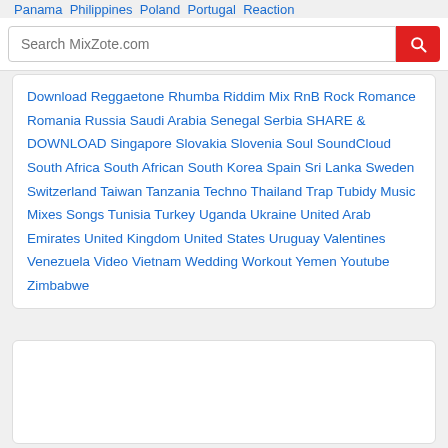Search MixZote.com
Download Reggaetone Rhumba Riddim Mix RnB Rock Romance Romania Russia Saudi Arabia Senegal Serbia SHARE & DOWNLOAD Singapore Slovakia Slovenia Soul SoundCloud South Africa South African South Korea Spain Sri Lanka Sweden Switzerland Taiwan Tanzania Techno Thailand Trap Tubidy Music Mixes Songs Tunisia Turkey Uganda Ukraine United Arab Emirates United Kingdom United States Uruguay Valentines Venezuela Video Vietnam Wedding Workout Yemen Youtube Zimbabwe